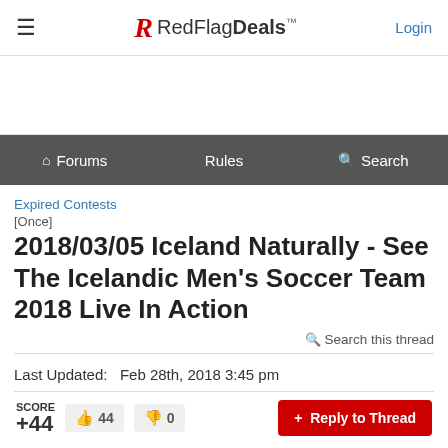RedFlagDeals — Login
Forums | Rules | Search
Expired Contests
[Once]
2018/03/05 Iceland Naturally - See The Icelandic Men's Soccer Team 2018 Live In Action
Search this thread
Last Updated:  Feb 28th, 2018 3:45 pm
SCORE +44  44  0  + Reply to Thread